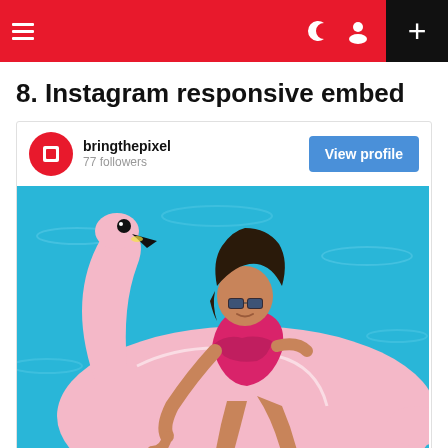Navigation bar with hamburger menu, crescent/user icons, and + button
8. Instagram responsive embed
[Figure (screenshot): Instagram embed widget showing bringthepixel profile with 77 followers, a 'View profile' button, and a photo of a woman in a pink bikini sitting on a pink flamingo pool float in a blue swimming pool]